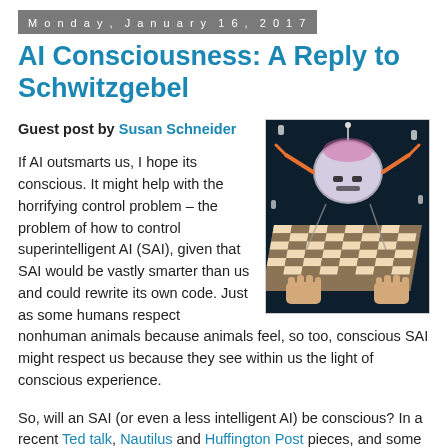Monday, January 16, 2017
AI Consciousness: A Reply to Schwitzgebel
Guest post by Susan Schneider
[Figure (illustration): Stylized illustration of a robot/AI figure with a chessboard, robotic arms, and chess pieces on a dark background]
If AI outsmarts us, I hope its conscious. It might help with the horrifying control problem – the problem of how to control superintelligent AI (SAI), given that SAI would be vastly smarter than us and could rewrite its own code. Just as some humans respect nonhuman animals because animals feel, so too, conscious SAI might respect us because they see within us the light of conscious experience.
So, will an SAI (or even a less intelligent AI) be conscious? In a recent Ted talk, Nautilus and Huffington Post pieces, and some academic articles (all at my website) I've been urging that it is an important open question.